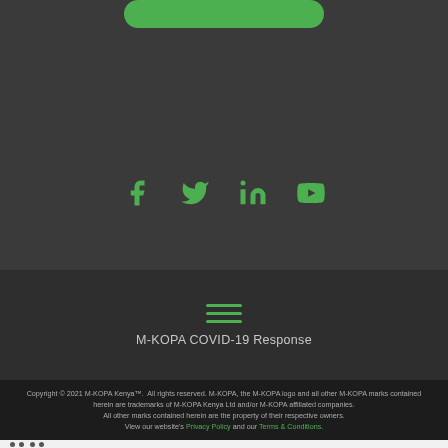[Figure (illustration): Green rounded button at top of dark grey section]
[Figure (illustration): Social media icons: Facebook, Twitter, LinkedIn, YouTube in green on dark grey background]
[Figure (illustration): Hamburger menu icon (three green horizontal lines) on darker grey background]
M-KOPA COVID-19 Response
Copyright © 2021 M-KOPA Kenya™.  All rights reserved. M-KOPA, the M-KOPA logo and all other M-KOPA marks contained herein are trademarks of M-KOPA Kenya Ltd and/or M-KOPA affiliated companies. All other marks contained herein are the property of their respective owners. View our website's Privacy Policy and our Terms & Conditions.